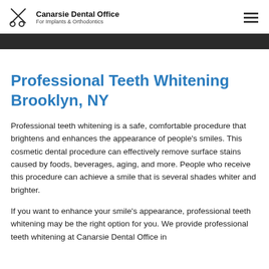Canarsie Dental Office For Implants & Orthodontics
Professional Teeth Whitening Brooklyn, NY
Professional teeth whitening is a safe, comfortable procedure that brightens and enhances the appearance of people's smiles. This cosmetic dental procedure can effectively remove surface stains caused by foods, beverages, aging, and more. People who receive this procedure can achieve a smile that is several shades whiter and brighter.
If you want to enhance your smile's appearance, professional teeth whitening may be the right option for you. We provide professional teeth whitening at Canarsie Dental Office in...